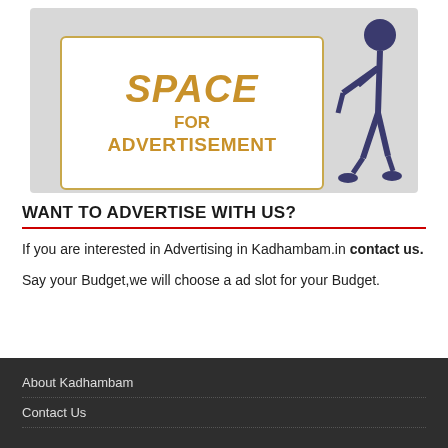[Figure (illustration): Advertisement banner with a white sign reading SPACE FOR ADVERTISEMENT in gold/yellow bold italic text, with a blue 3D stick figure character pointing at the sign, on a light gray background.]
WANT TO ADVERTISE WITH US?
If you are interested in Advertising in Kadhambam.in contact us.
Say your Budget,we will choose a ad slot for your Budget.
About Kadhambam
Contact Us